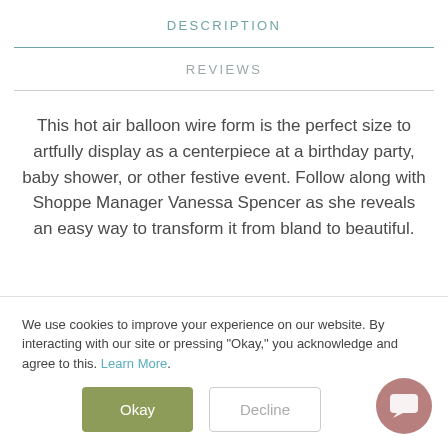DESCRIPTION
REVIEWS
This hot air balloon wire form is the perfect size to artfully display as a centerpiece at a birthday party, baby shower, or other festive event. Follow along with Shoppe Manager Vanessa Spencer as she reveals an easy way to transform it from bland to beautiful.
We use cookies to improve your experience on our website. By interacting with our site or pressing "Okay," you acknowledge and agree to this. Learn More.